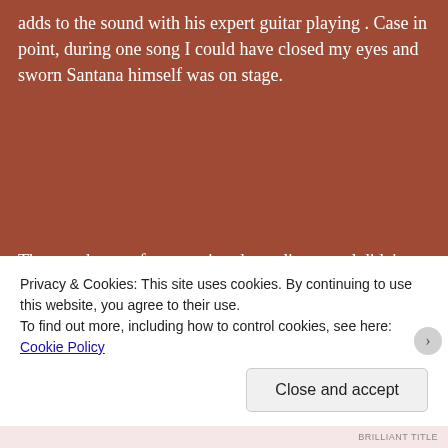adds to the sound with his expert guitar playing . Case in point, during one song I could have closed my eyes and sworn Santana himself was on stage.
They are known for engaging the audience and didn't disappoint on this venture. They came off of the stage to dance with us, had us singing, and at one point threw out percussion instruments for us to shake to the up-tempo
Privacy & Cookies: This site uses cookies. By continuing to use this website, you agree to their use.
To find out more, including how to control cookies, see here: Cookie Policy